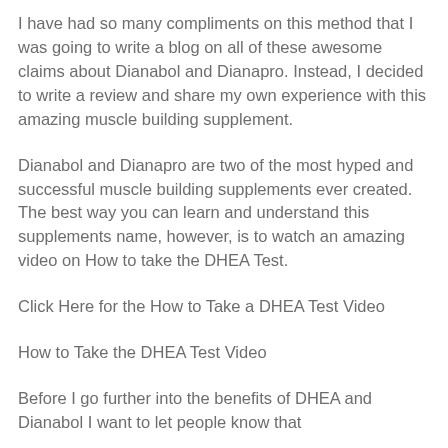I have had so many compliments on this method that I was going to write a blog on all of these awesome claims about Dianabol and Dianapro. Instead, I decided to write a review and share my own experience with this amazing muscle building supplement.
Dianabol and Dianapro are two of the most hyped and successful muscle building supplements ever created. The best way you can learn and understand this supplements name, however, is to watch an amazing video on How to take the DHEA Test.
Click Here for the How to Take a DHEA Test Video
How to Take the DHEA Test Video
Before I go further into the benefits of DHEA and Dianabol I want to let people know that